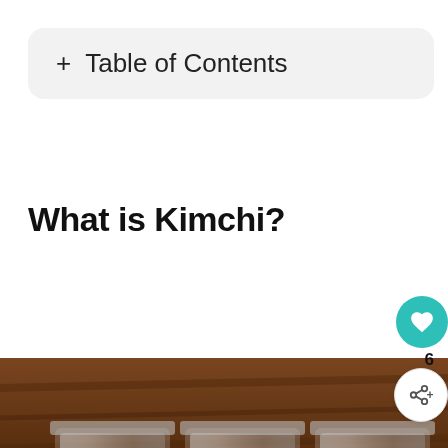+ Table of Contents
What is Kimchi?
[Figure (photo): Three glass jars filled with kimchi on a dark wooden surface]
WHAT'S NEXT → What Does Farro Taste...
It's okay to question. Now get the facts on COVID-19 vaccines GetVaccineAnswers.org